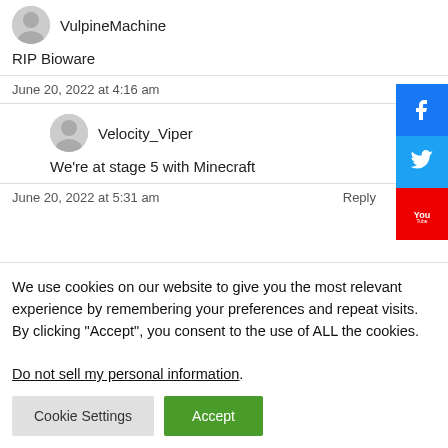VulpineMachine
RIP Bioware
June 20, 2022 at 4:16 am
Reply
Velocity_Viper
We're at stage 5 with Minecraft
June 20, 2022 at 5:31 am
Reply
We use cookies on our website to give you the most relevant experience by remembering your preferences and repeat visits. By clicking “Accept”, you consent to the use of ALL the cookies.
Do not sell my personal information.